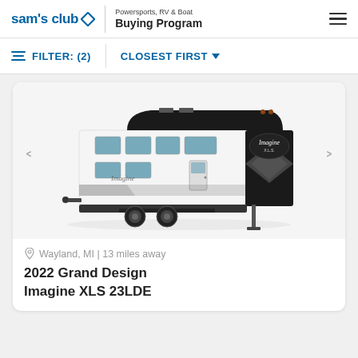sam's club — Powersports, RV & Boat Buying Program
FILTER: (2)   CLOSEST FIRST
[Figure (photo): 2022 Grand Design Imagine XLS 23LDE travel trailer, black and white exterior, shown on a white background with carousel navigation arrows on either side.]
Wayland, MI | 13 miles away
2022 Grand Design Imagine XLS 23LDE